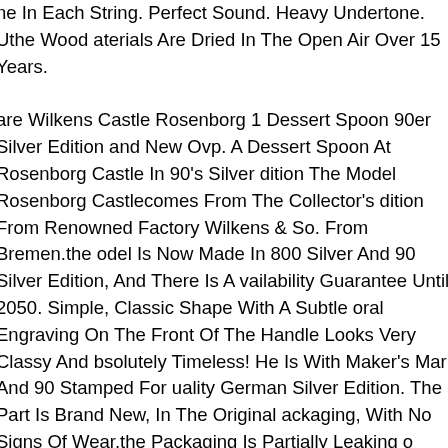ne In Each String. Perfect Sound. Heavy Undertone. Uthe Wood aterials Are Dried In The Open Air Over 15 Years. are Wilkens Castle Rosenborg 1 Dessert Spoon 90er Silver Edition and New Ovp. A Dessert Spoon At Rosenborg Castle In 90's Silver dition The Model Rosenborg Castlecomes From The Collector's dition From Renowned Factory Wilkens & So. From Bremen.the odel Is Now Made In 800 Silver And 90 Silver Edition, And There Is A vailability Guarantee Until 2050. Simple, Classic Shape With A Subtle oral Engraving On The Front Of The Handle Looks Very Classy And bsolutely Timeless! He Is With Maker's Mark And 90 Stamped For uality German Silver Edition. The Part Is Brand New, In The Original ackaging, With No Signs Of Wear.the Packaging Is Partially Leaking o There Are The Usual Tarnish Marks For Silver. There Are Several poons On Offer, But The Price Only Refers To One Spoon! The New ice Of An Identical Spoon Is Now 102! Trixum Mobile-optimized uction Templa.